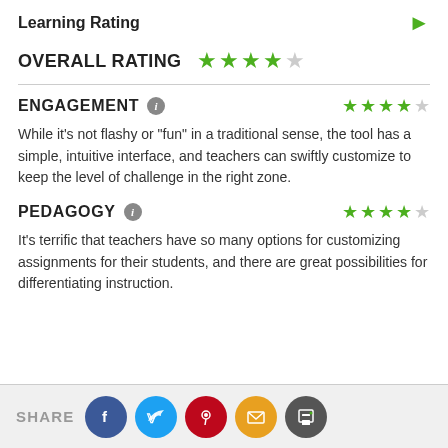Learning Rating
OVERALL RATING ★★★★☆
ENGAGEMENT
While it's not flashy or "fun" in a traditional sense, the tool has a simple, intuitive interface, and teachers can swiftly customize to keep the level of challenge in the right zone.
PEDAGOGY
It's terrific that teachers have so many options for customizing assignments for their students, and there are great possibilities for differentiating instruction.
SHARE